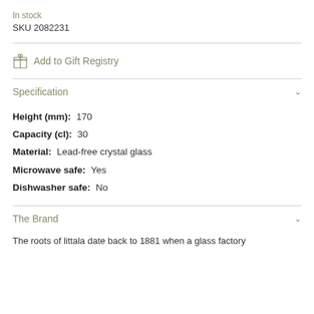In stock
SKU 2082231
Add to Gift Registry
Specification
Height (mm): 170
Capacity (cl): 30
Material: Lead-free crystal glass
Microwave safe: Yes
Dishwasher safe: No
The Brand
The roots of littala date back to 1881 when a glass factory